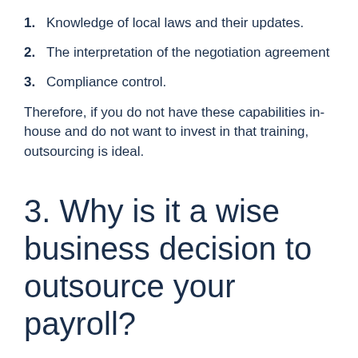1. Knowledge of local laws and their updates.
2. The interpretation of the negotiation agreement
3. Compliance control.
Therefore, if you do not have these capabilities in-house and do not want to invest in that training, outsourcing is ideal.
3. Why is it a wise business decision to outsource your payroll?